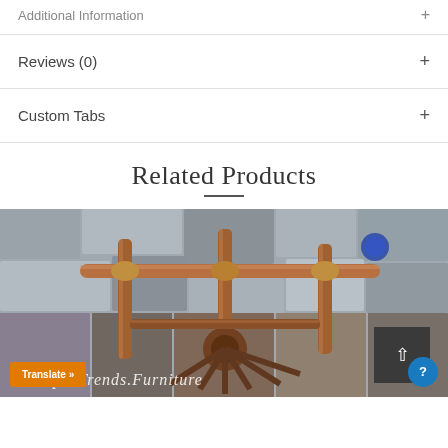Additional Information +
Reviews (0) +
Custom Tabs +
Related Products
[Figure (photo): Industrial-style copper and brass pipes/valves against a stone wall background, with text overlay reading 'Jodhpur Trends Furniture']
Translate »
?